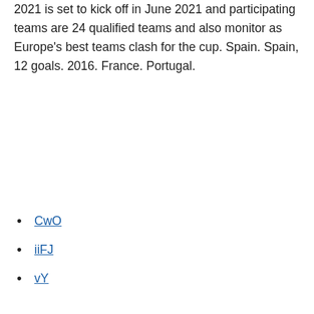2021 is set to kick off in June 2021 and participating teams are 24 qualified teams and also monitor as Europe's best teams clash for the cup. Spain. Spain, 12 goals. 2016. France. Portugal.
CwO
iiFJ
vY